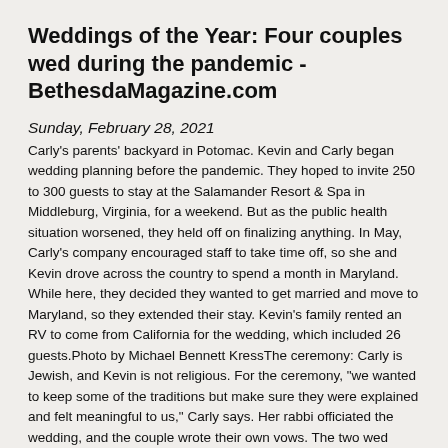Weddings of the Year: Four couples wed during the pandemic - BethesdaMagazine.com
Sunday, February 28, 2021
Carly's parents' backyard in Potomac. Kevin and Carly began wedding planning before the pandemic. They hoped to invite 250 to 300 guests to stay at the Salamander Resort & Spa in Middleburg, Virginia, for a weekend. But as the public health situation worsened, they held off on finalizing anything. In May, Carly's company encouraged staff to take time off, so she and Kevin drove across the country to spend a month in Maryland. While here, they decided they wanted to get married and move to Maryland, so they extended their stay. Kevin's family rented an RV to come from California for the wedding, which included 26 guests.Photo by Michael Bennett KressThe ceremony: Carly is Jewish, and Kevin is not religious. For the ceremony, "we wanted to keep some of the traditions but make sure they were explained and felt meaningful to us," Carly says. Her rabbi officiated the wedding, and the couple wrote their own vows. The two wed beneath a chuppah, a canopy used in Jewish weddings. The chuppah was wooden and covered in string lights, leaves and white and purple flowers. The cloth for the chuppah was Carly's grandfather's tallit (Jewish prayer shawl). In Jewish